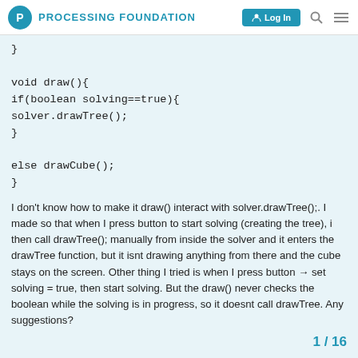PROCESSING FOUNDATION  Log In
}

void draw(){
if(boolean solving==true){
solver.drawTree();
}

else drawCube();
}
I don't know how to make it draw() interact with solver.drawTree();. I made so that when I press button to start solving (creating the tree), i then call drawTree(); manually from inside the solver and it enters the drawTree function, but it isnt drawing anything from there and the cube stays on the screen. Other thing I tried is when I press button → set solving = true, then start solving. But the draw() never checks the boolean while the solving is in progress, so it doesnt call drawTree. Any suggestions?
1 / 16